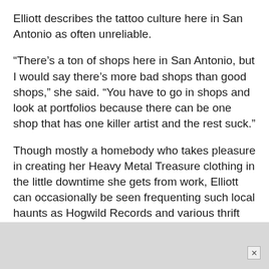Elliott describes the tattoo culture here in San Antonio as often unreliable.
“There’s a ton of shops here in San Antonio, but I would say there’s more bad shops than good shops,” she said. “You have to go in shops and look at portfolios because there can be one shop that has one killer artist and the rest suck.”
Though mostly a homebody who takes pleasure in creating her Heavy Metal Treasure clothing in the little downtime she gets from work, Elliott can occasionally be seen frequenting such local haunts as Hogwild Records and various thrift shops. You can check out her work and hopes for the Tattoo magazine cover and $100,000 prize each week on Oxygen.